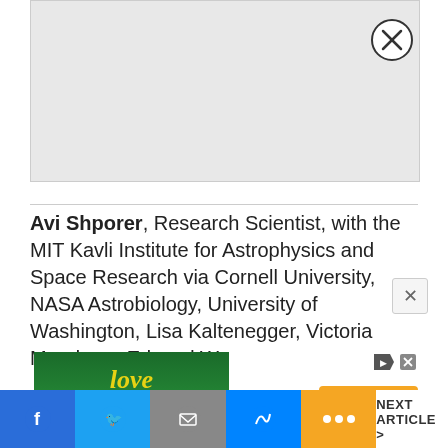[Figure (photo): Gray placeholder image area at top of page]
Avi Shporer, Research Scientist, with the MIT Kavli Institute for Astrophysics and Space Research via Cornell University, NASA Astrobiology, University of Washington, Lisa Kaltenegger, Victoria Meadows, Edward W...
[Figure (infographic): Love Island USA advertisement banner featuring peacock streaming service with sign up now button]
NEXT ARTICLE >